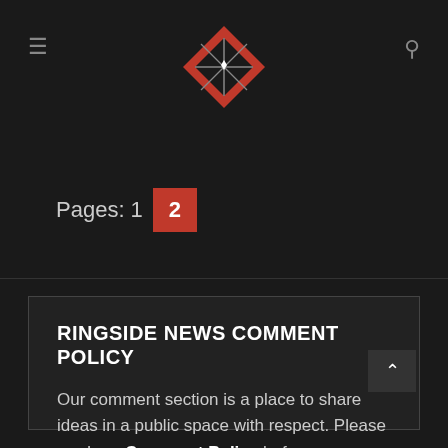[Figure (logo): Ringside News logo — a boxing ring icon in red and black with crossed lines]
Pages: 1  2
RINGSIDE NEWS COMMENT POLICY
Our comment section is a place to share ideas in a public space with respect. Please read our Comment Policy before commenting.